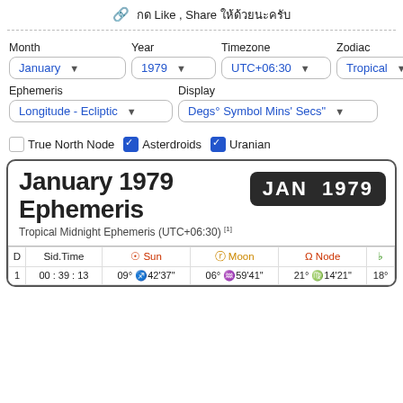🔗 กด Like, Share ให้ด้วยนะครับ
Month  Year  Timezone  Zodiac
January ▼  1979 ▼  UTC+06:30 ▼  Tropical ▼
Ephemeris  Display
Longitude - Ecliptic ▼  Degs° Symbol Mins' Secs" ▼
☐ True North Node ☑ Asterdroids ☑ Uranian
January 1979 Ephemeris
Tropical Midnight Ephemeris (UTC+06:30) [1]
| D | Sid.Time | ☉ Sun | ☽ Moon | Ω Node | ♄ |
| --- | --- | --- | --- | --- | --- |
| 1 | 00 : 39 : 13 | 09° ♐ 42'37" | 06° ♒ 59'41" | 21° ♍ 14'21" | 18° |